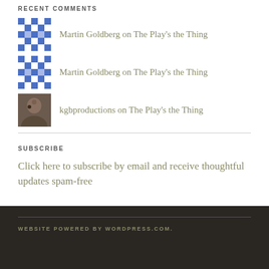RECENT COMMENTS
Martin Goldberg on The Play’s the Thing
Martin Goldberg on The Play’s the Thing
kgbproductions on The Play’s the Thing
SUBSCRIBE
Click here to subscribe by email and receive thoughtful updates spam-free
WEBSITE POWERED BY WORDPRESS.COM.